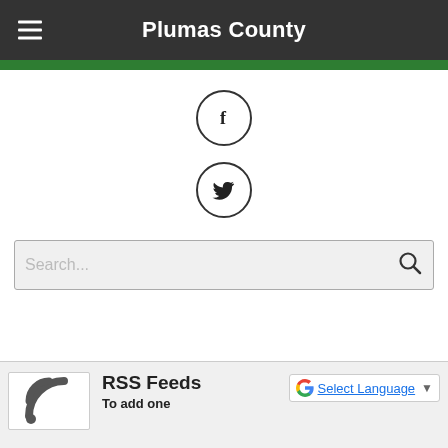Plumas County
[Figure (illustration): Facebook icon in a circle]
[Figure (illustration): Twitter bird icon in a circle]
Search...
RSS Feeds
To add one
[Figure (logo): Google G logo]
Select Language